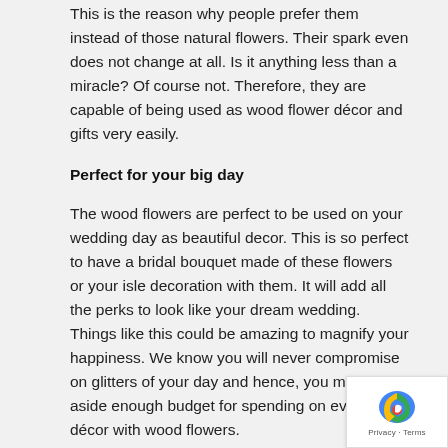This is the reason why people prefer them instead of those natural flowers. Their spark even does not change at all. Is it anything less than a miracle? Of course not. Therefore, they are capable of being used as wood flower décor and gifts very easily.
Perfect for your big day
The wood flowers are perfect to be used on your wedding day as beautiful decor. This is so perfect to have a bridal bouquet made of these flowers or your isle decoration with them. It will add all the perks to look like your dream wedding. Things like this could be amazing to magnify your happiness. We know you will never compromise on glitters of your day and hence, you must keep aside enough budget for spending on event décor with wood flowers.
Pocket-friendly flowers